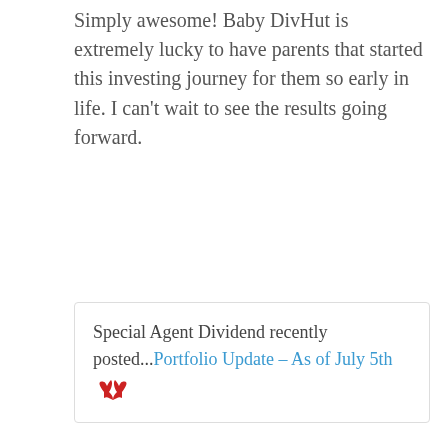Simply awesome! Baby DivHut is extremely lucky to have parents that started this investing journey for them so early in life. I can't wait to see the results going forward.
Special Agent Dividend recently posted...Portfolio Update – As of July 5th
Reply
DivHut
July 11, 2016 at 4:47 pm